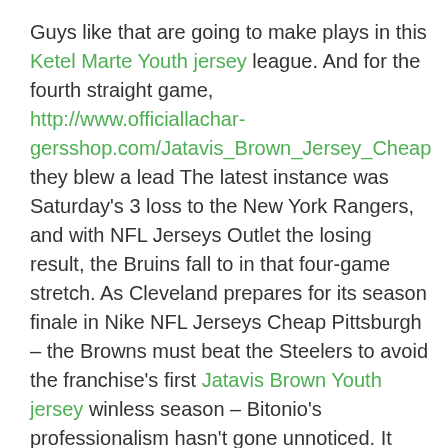Guys like that are going to make plays in this Ketel Marte Youth jersey league. And for the fourth straight game, http://www.officiallachar gersshop.com/Jatavis_Brown_Jersey_Cheap they blew a lead The latest instance was Saturday's 3 loss to the New York Rangers, and with NFL Jerseys Outlet the losing result, the Bruins fall to in that four-game stretch. As Cleveland prepares for its season finale in Nike NFL Jerseys Cheap Pittsburgh – the Browns must beat the Steelers to avoid the franchise's first Jatavis Brown Youth jersey winless season – Bitonio's professionalism hasn't gone unnoticed. It was definitely one of those playoff-type games and I thought overall NFL Jerseys Outlet we played pretty well, said Montreal goalie , who made 29 saves. King scored 17 points to lead the Red Flash , which swept the Terriers last season. Smith registered 17 goals and 44 points Nike NFL Jerseys Cheap in 57